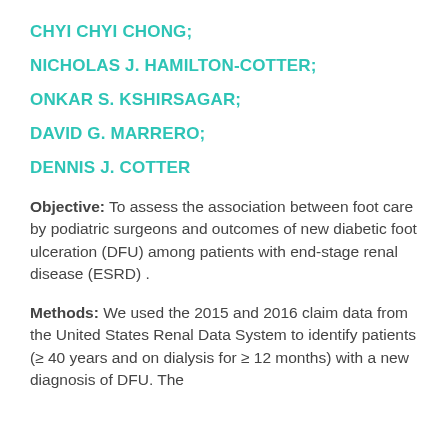CHYI CHYI CHONG;
NICHOLAS J. HAMILTON-COTTER;
ONKAR S. KSHIRSAGAR;
DAVID G. MARRERO;
DENNIS J. COTTER
Objective: To assess the association between foot care by podiatric surgeons and outcomes of new diabetic foot ulceration (DFU) among patients with end-stage renal disease (ESRD) .
Methods: We used the 2015 and 2016 claim data from the United States Renal Data System to identify patients (≥ 40 years and on dialysis for ≥ 12 months) with a new diagnosis of DFU. The